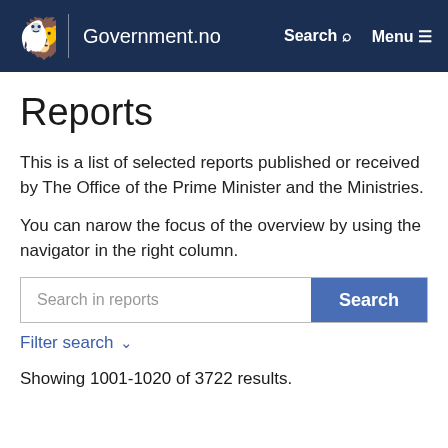Government.no  Search  Menu
Reports
This is a list of selected reports published or received by The Office of the Prime Minister and the Ministries.
You can narow the focus of the overview by using the navigator in the right column.
Search in reports [search input] Search [button]
Filter search ∨
Showing 1001-1020 of 3722 results.